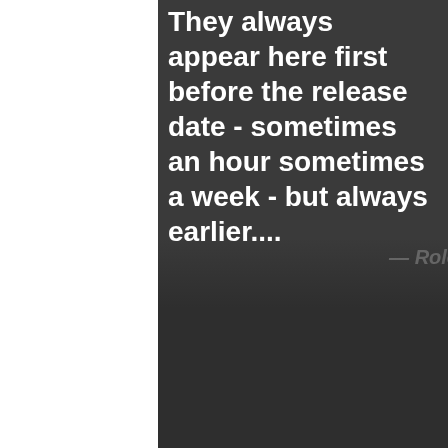They always appear here first before the release date - sometimes an hour sometimes a week - but always earlier....